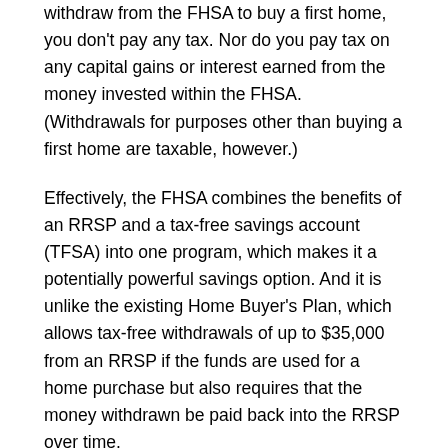withdraw from the FHSA to buy a first home, you don't pay any tax. Nor do you pay tax on any capital gains or interest earned from the money invested within the FHSA. (Withdrawals for purposes other than buying a first home are taxable, however.)
Effectively, the FHSA combines the benefits of an RRSP and a tax-free savings account (TFSA) into one program, which makes it a potentially powerful savings option. And it is unlike the existing Home Buyer's Plan, which allows tax-free withdrawals of up to $35,000 from an RRSP if the funds are used for a home purchase but also requires that the money withdrawn be paid back into the RRSP over time.
For parents considering helping their kids out with a down payment, one possibility is to gift funds for the child to contribute to their FHSA. Gifts are tax-free